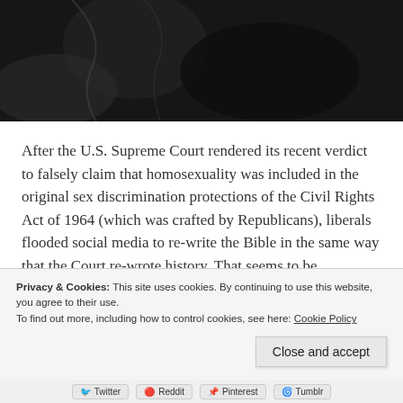[Figure (photo): Black and white aerial or landscape photo with dark textured terrain, light path or trail visible]
After the U.S. Supreme Court rendered its recent verdict to falsely claim that homosexuality was included in the original sex discrimination protections of the Civil Rights Act of 1964 (which was crafted by Republicans), liberals flooded social media to re-write the Bible in the same way that the Court re-wrote history. That seems to be...
Privacy & Cookies: This site uses cookies. By continuing to use this website, you agree to their use.
To find out more, including how to control cookies, see here: Cookie Policy
Close and accept
Twitter  Reddit  Pinterest  Tumblr